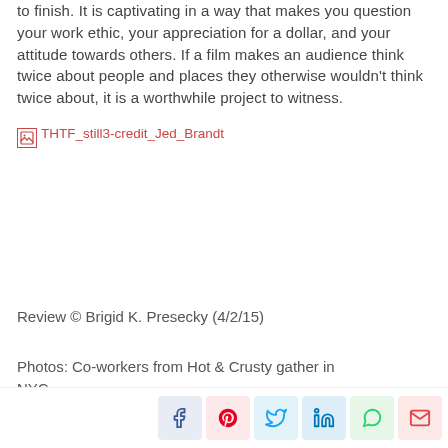to finish. It is captivating in a way that makes you question your work ethic, your appreciation for a dollar, and your attitude towards others. If a film makes an audience think twice about people and places they otherwise wouldn't think twice about, it is a worthwhile project to witness.
[Figure (photo): Broken image placeholder: THTF_still3-credit_Jed_Brandt]
Review © Brigid K. Presecky (4/2/15)
Photos: Co-workers from Hot & Crusty gather in NYC...